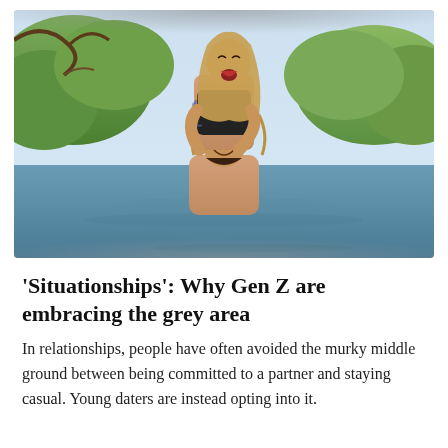[Figure (photo): A young couple playing in a river or lake outdoors. A tattooed woman in a black bikini sits on a smiling bearded man's shoulders, both laughing. Green trees visible in the background.]
'Situationships': Why Gen Z are embracing the grey area
In relationships, people have often avoided the murky middle ground between being committed to a partner and staying casual. Young daters are instead opting into it.